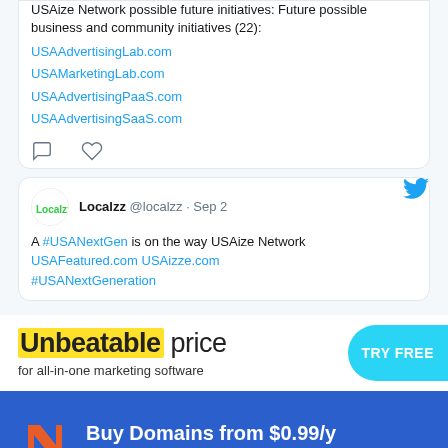USAize Network possible future initiatives: Future possible business and community initiatives (22):
USAAdvertisingLab.com
USAMarketingLab.com
USAAdvertisingPaaS.com
USAAdvertisingSaaS.com
Localzz @localzz · Sep 2
A #USANextGen is on the way USAize Network USAFeatured.com USAizze.com #USANextGeneration
[Figure (screenshot): Advertisement banner: 'Unbeatable price for all-in-one marketing software' with yellow highlight on 'Unbeatable' and a TRY FREE button in cyan]
[Figure (screenshot): Namecheap advertisement banner on blue background: 'Buy Domains from $0.99/y Start your business now' with Namecheap logo]